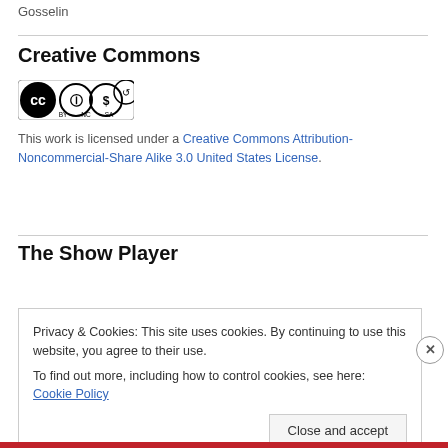Gosselin
Creative Commons
[Figure (logo): Creative Commons BY NC SA license badge]
This work is licensed under a Creative Commons Attribution-Noncommercial-Share Alike 3.0 United States License.
The Show Player
Privacy & Cookies: This site uses cookies. By continuing to use this website, you agree to their use.
To find out more, including how to control cookies, see here: Cookie Policy
Close and accept